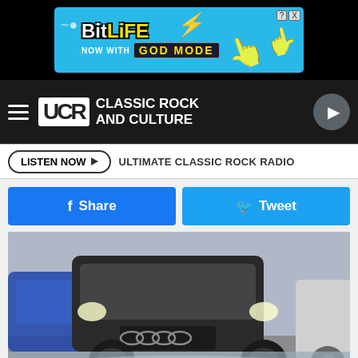[Figure (screenshot): BitLife NOW WITH GOD MODE advertisement banner at top]
[Figure (logo): UCR Classic Rock and Culture navigation bar with hamburger menu and play button]
LISTEN NOW ▶   ULTIMATE CLASSIC ROCK RADIO
[Figure (other): Facebook Share button (blue) and Twitter Tweet button (light blue)]
[Figure (photo): Close-up photo of parked SUVs/cars, front view showing an Audi badge]
Ashburn Unsold Never-Driven SUVs Now Almost Being Given Away (See Prices)
SUV Deals | Search Ads
[Figure (screenshot): BitLife NOW WITH GOD MODE advertisement banner at bottom]